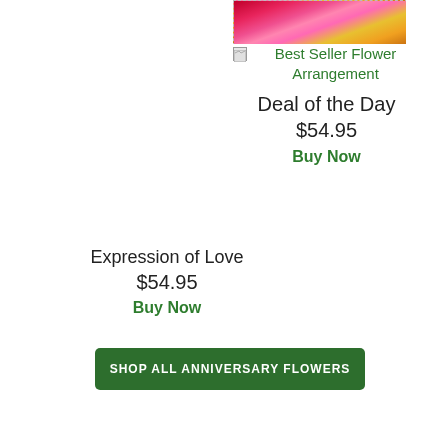[Figure (photo): Cropped photo of pink and yellow flower arrangement including gerbera daisies and roses, with dashed border, partially visible at top]
[Figure (photo): Small image placeholder icon for Best Seller Flower Arrangement]
Best Seller Flower Arrangement
Deal of the Day
$54.95
Buy Now
Expression of Love
$54.95
Buy Now
SHOP ALL ANNIVERSARY FLOWERS